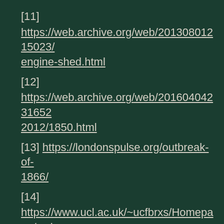[11]
https://web.archive.org/web/20130801215023/engine-shed.html
[12]
https://web.archive.org/web/20160404231652/2012/1850.html
[13] https://londonspulse.org/outbreak-of-1866/
[14]
https://www.ucl.ac.uk/~ucfbrxs/Homepage/wal
[15]
https://en.wikipedia.org/wiki/Treaty_of_Alfred_
[16]